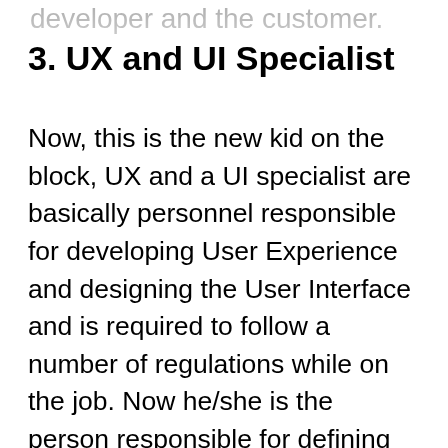developer and the customer.
3. UX and UI Specialist
Now, this is the new kid on the block, UX and a UI specialist are basically personnel responsible for developing User Experience and designing the User Interface and is required to follow a number of regulations while on the job. Now he/she is the person responsible for defining how a user will interact with an application or software or website. So a UI and UX specialist is required to have in-depth knowledge